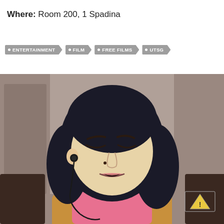Where: Room 200, 1 Spadina
ENTERTAINMENT
FILM
FREE FILMS
UTSG
[Figure (illustration): Illustration of a young woman with dark hair sitting with eyes closed, wearing earbuds with a cord, pink scarf/turtleneck and brown top, seated on what appears to be public transit with a grey/brown background.]